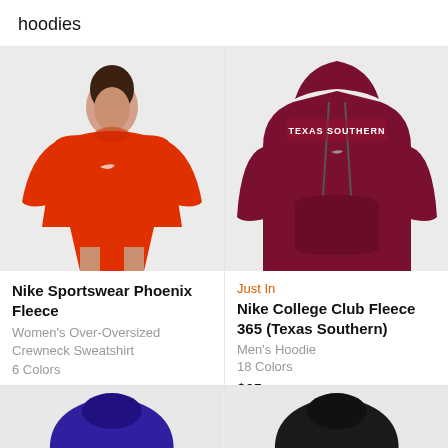hoodies
[Figure (photo): Woman wearing an orange/red Nike Sportswear Phoenix Fleece oversized crewneck sweatshirt with matching shorts, on a light grey background]
Nike Sportswear Phoenix Fleece
Women's Over-Oversized Crewneck Sweatshirt
6 Colors
$65
[Figure (photo): Maroon Nike College Club Fleece 365 hoodie with 'TEXAS SOUTHERN' text arched across the chest, on a light grey background]
Just In
Nike College Club Fleece 365 (Texas Southern)
Men's Hoodie
18 Colors
$65
[Figure (photo): Partial view of a purple/indigo Nike hoodie at the bottom left]
[Figure (photo): Partial view of a black Nike hoodie at the bottom right]